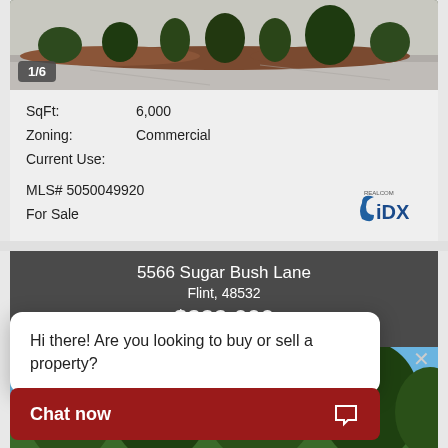[Figure (photo): Exterior photo of commercial property showing landscaping, mulch beds, shrubs, and paved driveway]
1/6
SqFt: 6,000
Zoning: Commercial
Current Use:
MLS# 5050049920
For Sale
[Figure (logo): REALCOM IDX logo]
5566 Sugar Bush Lane
Flint, 48532
$299,000
[Figure (photo): Exterior photo of residential property showing trees and natural landscaping]
Hi there! Are you looking to buy or sell a property?
Chat now